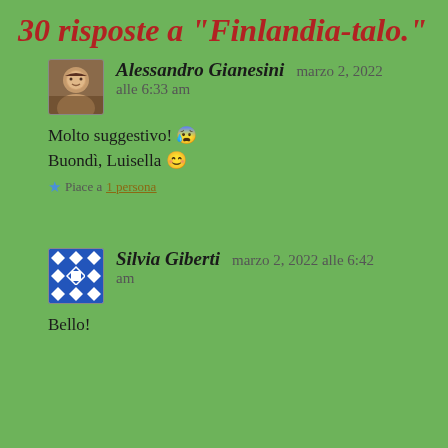30 risposte a "Finlandia-talo."
Alessandro Gianesini   marzo 2, 2022
alle 6:33 am
Molto suggestivo! 😮
Buondì, Luisella 😊
★ Piace a 1 persona
Silvia Giberti   marzo 2, 2022 alle 6:42 am
Bello!